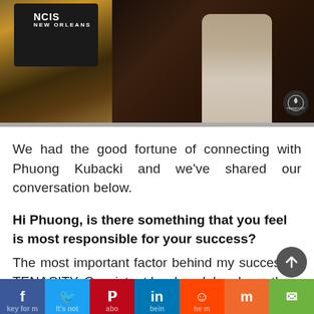[Figure (photo): Left photo: NCIS New Orleans director's chair on set. Right photo: person in white blazer in dark room with Paramount logo.]
We had the good fortune of connecting with Phuong Kubacki and we've shared our conversation below.
Hi Phuong, is there something that you feel is most responsible for your success?
The most important factor behind my success is TENACITY. Consistent hard work has been the key for me. It's not about being the m...